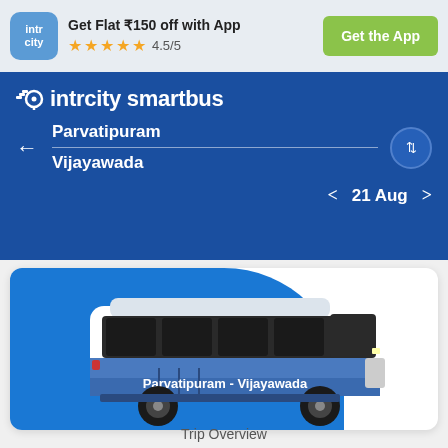[Figure (screenshot): IntrCity app promotional banner with logo, '4.5/5' star rating and 'Get the App' button]
Get Flat ₹150 off with App
★★★★☆ 4.5/5
Get the App
[Figure (logo): IntrCity SmartBus logo with location pin icon]
Parvatipuram
Vijayawada
21 Aug
[Figure (illustration): Illustration of a blue and white bus with text 'Parvatipuram - Vijayawada' on the side, on a blue background card]
Trip Overview